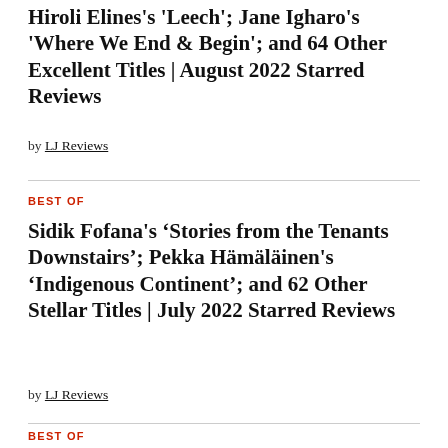Hiromi Elines's 'Leech'; Jane Igharo's 'Where We End & Begin'; and 64 Other Excellent Titles | August 2022 Starred Reviews
by LJ Reviews
BEST OF
Sidik Fofana's 'Stories from the Tenants Downstairs'; Pekka Hämäläinen's 'Indigenous Continent'; and 62 Other Stellar Titles | July 2022 Starred Reviews
by LJ Reviews
BEST OF